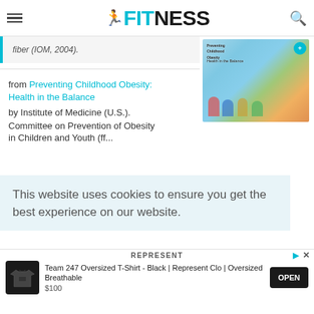FITNESS
fiber (IOM, 2004).
[Figure (illustration): Book cover of 'Preventing Childhood Obesity: Health in the Balance' showing illustrated children doing various activities]
from Preventing Childhood Obesity: Health in the Balance
by Institute of Medicine (U.S.).
Committee on Prevention of Obesity
in Children and Youth (ff...
This website uses cookies to ensure you get the best experience on our website.
Team 247 Oversized T-Shirt - Black | Represent Clo | Oversized Breathable
$100